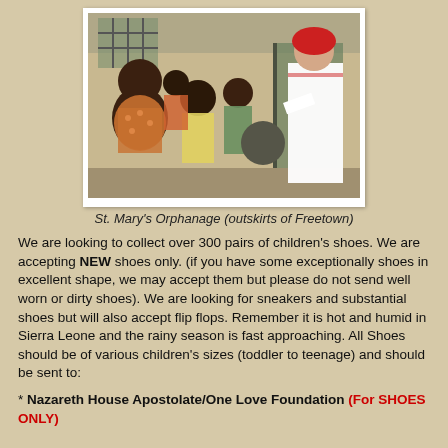[Figure (photo): A woman in a white shirt and red headscarf interacting with a group of African children outside a building. Caption: St. Mary's Orphanage (outskirts of Freetown)]
St. Mary's Orphanage (outskirts of Freetown)
We are looking to collect over 300 pairs of children's shoes. We are accepting NEW shoes only. (if you have some exceptionally shoes in excellent shape, we may accept them but please do not send well worn or dirty shoes). We are looking for sneakers and substantial shoes but will also accept flip flops. Remember it is hot and humid in Sierra Leone and the rainy season is fast approaching. All Shoes should be of various children's sizes (toddler to teenage) and should be sent to:
* Nazareth House Apostolate/One Love Foundation (For SHOES ONLY)